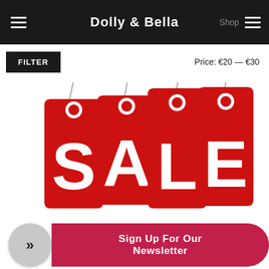Dolly & Bella
FILTER
Price: €20 — €30
[Figure (illustration): Four red price tag shapes hanging from strings, each bearing one letter spelling SALE in large white bold font. Each tag has a white circular eyelet at the top.]
[Figure (infographic): Newsletter signup bar with a grey circle button containing a double right arrow (»), followed by a red rounded rectangle button reading SIGN UP FOR OUR NEWSLETTER in white bold text.]